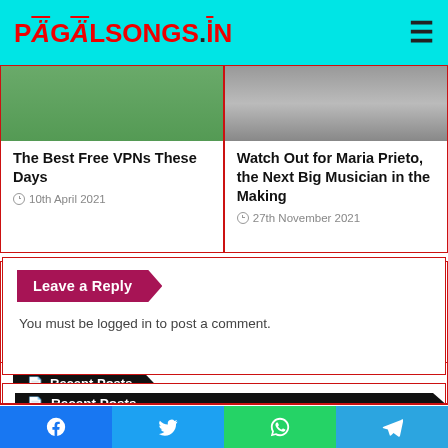PAGALSONGS.IN
The Best Free VPNs These Days
10th April 2021
Watch Out for Maria Prieto, the Next Big Musician in the Making
27th November 2021
Leave a Reply
You must be logged in to post a comment.
Recent Posts
San Francisco to Los Angeles Road t…